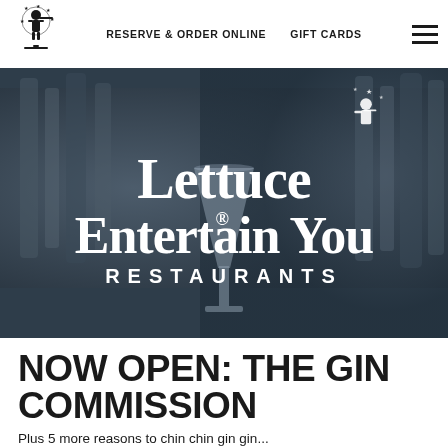RESERVE & ORDER ONLINE   GIFT CARDS
[Figure (logo): Lettuce Entertain You Restaurants logo — white text with waiter figure on dark blurred bar background]
NOW OPEN: THE GIN COMMISSION
Plus 5 more reasons to chin chin gin gin...